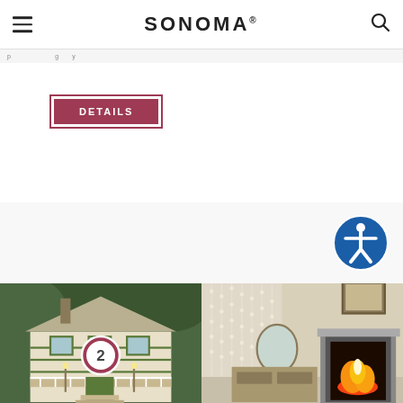SONOMA
DETAILS
[Figure (other): Accessibility icon — blue circle with white person/accessibility symbol]
[Figure (photo): Victorian-style house exterior with green and yellow paint, porch and stairs, surrounded by trees]
[Figure (photo): Interior room with beaded curtain, oval mirror on dresser, fireplace with fire burning, framed art on wall]